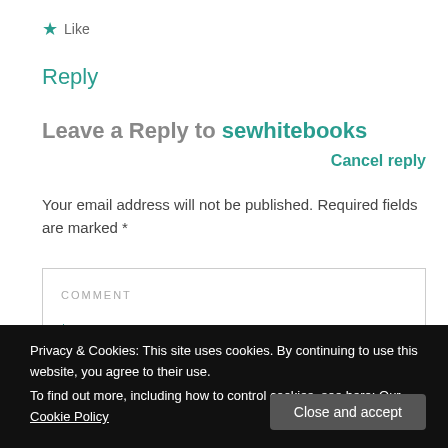★ Like
Reply
Leave a Reply to sewhitebooks
Cancel reply
Your email address will not be published. Required fields are marked *
COMMENT *
Privacy & Cookies: This site uses cookies. By continuing to use this website, you agree to their use.
To find out more, including how to control cookies, see here: Our Cookie Policy
Close and accept